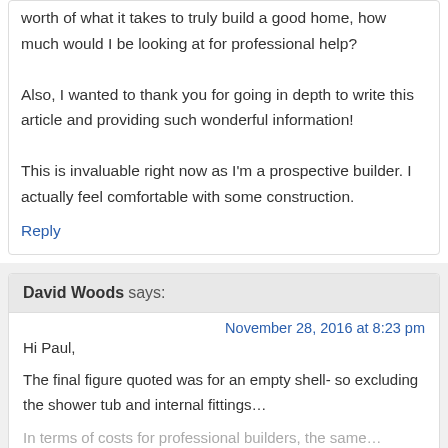worth of what it takes to truly build a good home, how much would I be looking at for professional help? Also, I wanted to thank you for going in depth to write this article and providing such wonderful information! This is invaluable right now as I'm a prospective builder. I actually feel comfortable with some construction.
Reply
David Woods says:
November 28, 2016 at 8:23 pm
Hi Paul,
The final figure quoted was for an empty shell- so excluding the shower tub and internal fittings…
In terms of costs for professional builders, the same…